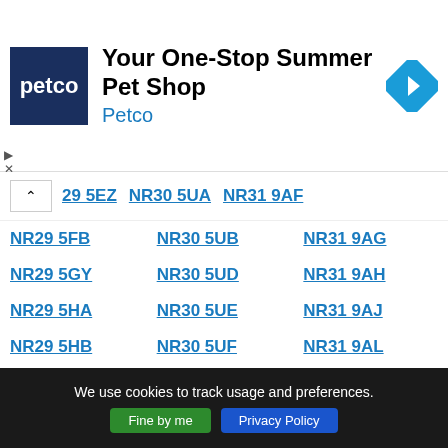[Figure (other): Petco advertisement banner: Petco logo (blue square with white text 'petco'), headline 'Your One-Stop Summer Pet Shop', subtext 'Petco', and a blue diamond-shaped navigation arrow icon on the right.]
NR29 5EZ
NR30 5UA
NR31 9AF
NR29 5FB
NR30 5UB
NR31 9AG
NR29 5GY
NR30 5UD
NR31 9AH
NR29 5HA
NR30 5UE
NR31 9AJ
NR29 5HB
NR30 5UF
NR31 9AL
NR29 5HD
NR30 5UG
NR31 9AN
NR29 5HE
NR30 5UH
NR31 9AP
NR29 5HF
NR30 5UJ
NR31 9AQ
NR29 5HG
NR30 5UL
NR31 9AR
We use cookies to track usage and preferences.
Fine by me
Privacy Policy